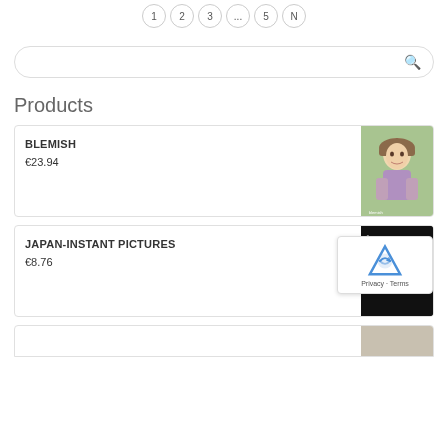1 2 3 ... 5 N
Products
BLEMISH
€23.94
JAPAN-INSTANT PICTURES
€8.76